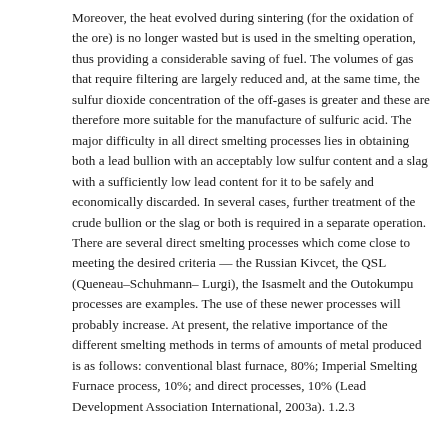Moreover, the heat evolved during sintering (for the oxidation of the ore) is no longer wasted but is used in the smelting operation, thus providing a considerable saving of fuel. The volumes of gas that require filtering are largely reduced and, at the same time, the sulfur dioxide concentration of the off-gases is greater and these are therefore more suitable for the manufacture of sulfuric acid. The major difficulty in all direct smelting processes lies in obtaining both a lead bullion with an acceptably low sulfur content and a slag with a sufficiently low lead content for it to be safely and economically discarded. In several cases, further treatment of the crude bullion or the slag or both is required in a separate operation. There are several direct smelting processes which come close to meeting the desired criteria — the Russian Kivcet, the QSL (Queneau–Schuhmann– Lurgi), the Isasmelt and the Outokumpu processes are examples. The use of these newer processes will probably increase. At present, the relative importance of the different smelting methods in terms of amounts of metal produced is as follows: conventional blast furnace, 80%; Imperial Smelting Furnace process, 10%; and direct processes, 10% (Lead Development Association International, 2003a). 1.2.3